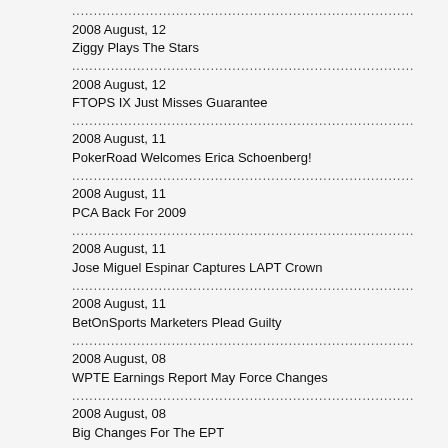2008 August, 12
Ziggy Plays The Stars
2008 August, 12
FTOPS IX Just Misses Guarantee
2008 August, 11
PokerRoad Welcomes Erica Schoenberg!
2008 August, 11
PCA Back For 2009
2008 August, 11
Jose Miguel Espinar Captures LAPT Crown
2008 August, 11
BetOnSports Marketers Plead Guilty
2008 August, 08
WPTE Earnings Report May Force Changes
2008 August, 08
Big Changes For The EPT
2008 August, 08
LAPT: Day One In Uruguay
2008 August, 07
Favorite PokerRoad Radio Moment? (3)
2008 August, 07
888 Holdings Grows, No Thanks To Poker